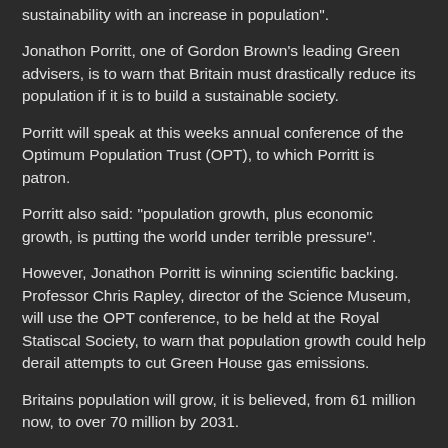sustainability with an increase in population".
Jonathon Porritt, one of Gordon Brown's leading Green advisers, is to warn that Britain must drastically reduce its population if it is to build a sustainable society.
Porritt will speak at this weeks annual conference of the Optimum Population Trust (OPT), to which Porritt is patron.
Porritt also said: "population growth, plus economic growth, is putting the world under terrible pressure".
However, Jonathon Porritt is winning scientific backing. Professor Chris Rapley, director of the Science Museum, will use the OPT conference, to be held at the Royal Statiscal Society, to warn that population growth could help derail attempts to cut Green House gas emissions.
Britains population will grow, it is believed, from 61 million now, to over 70 million by 2031.
Apparantly the Chinese as an example, implemented restrictions on their population, now China is on a better road and has become a more sustainable and prosperous nation, it now has to deal with it's CO2 problems.
One spokesman said, "that if too many people jump into a life boat, it may sink. But if everything was thought out properly earlier, there would be no need for a sinking ship". A spokesman also said, "more people on a small island like the UK, it makes sense, that there will be a huge